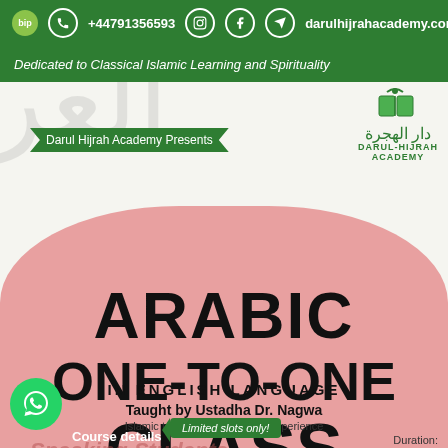bip  +44791356593  darulhijrahacademy.com
Dedicated to Classical Islamic Learning and Spirituality
[Figure (logo): Darul Hijrah Academy logo with open book icon and Arabic text دار الهجرة]
Darul Hijrah Academy Presents
ARABIC ONE-TO-ONE CLASS
IN ENGLISH LANGUAGE
Taught by Ustadha Dr. Nagwa
Islamic teacher with 25 years experience
Speaking Students
Course details
Limited slots only!
Duration: